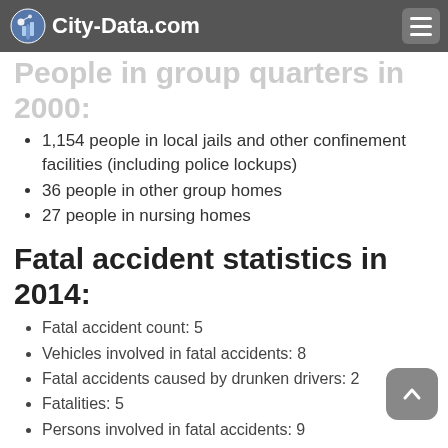City-Data.com
People in group quarters in 2000:
1,154 people in local jails and other confinement facilities (including police lockups)
36 people in other group homes
27 people in nursing homes
Fatal accident statistics in 2014:
Fatal accident count: 5
Vehicles involved in fatal accidents: 8
Fatal accidents caused by drunken drivers: 2
Fatalities: 5
Persons involved in fatal accidents: 9
Pedestrians involved in fatal accidents: 1
Fatal accident statistics in 2013: